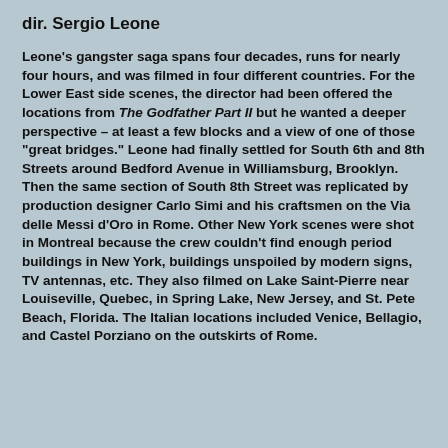dir. Sergio Leone
Leone's gangster saga spans four decades, runs for nearly four hours, and was filmed in four different countries. For the Lower East side scenes, the director had been offered the locations from The Godfather Part II but he wanted a deeper perspective – at least a few blocks and a view of one of those "great bridges." Leone had finally settled for South 6th and 8th Streets around Bedford Avenue in Williamsburg, Brooklyn. Then the same section of South 8th Street was replicated by production designer Carlo Simi and his craftsmen on the Via delle Messi d'Oro in Rome. Other New York scenes were shot in Montreal because the crew couldn't find enough period buildings in New York, buildings unspoiled by modern signs, TV antennas, etc. They also filmed on Lake Saint-Pierre near Louiseville, Quebec, in Spring Lake, New Jersey, and St. Pete Beach, Florida. The Italian locations included Venice, Bellagio, and Castel Porziano on the outskirts of Rome.